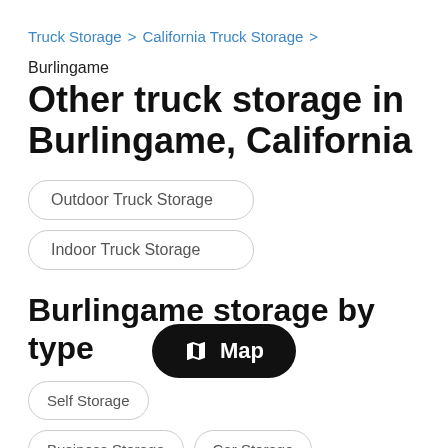Truck Storage > California Truck Storage >
Burlingame
Other truck storage in Burlingame, California
Outdoor Truck Storage
Indoor Truck Storage
Burlingame storage by type
Self Storage
Business Storage
Car Storage
[Figure (other): Map button/toast overlay showing map icon and text 'Map']